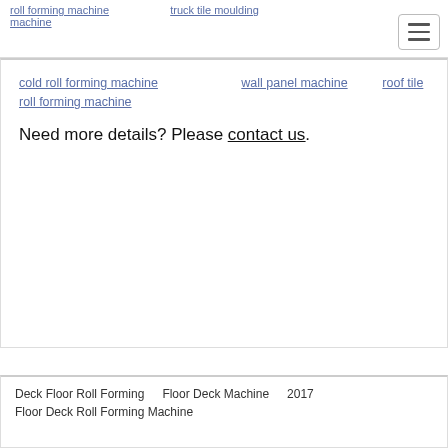roll forming machine  |  truck tile moulding machine
cold roll forming machine   wall panel machine   roof tile roll forming machine
Need more details? Please contact us.
Deck Floor Roll Forming   Floor Deck Machine   2017   Floor Deck Roll Forming Machine